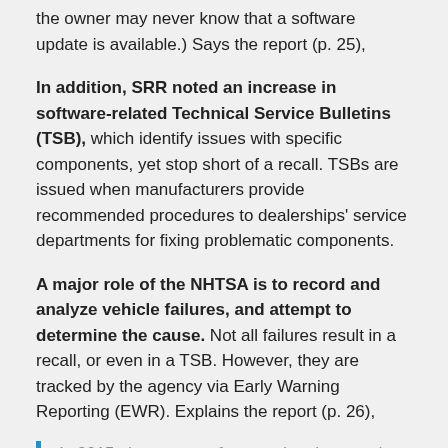the owner may never know that a software update is available.) Says the report (p. 25),
In addition, SRR noted an increase in software-related Technical Service Bulletins (TSB), which identify issues with specific components, yet stop short of a recall. TSBs are issued when manufacturers provide recommended procedures to dealerships' service departments for fixing problematic components.
A major role of the NHTSA is to record and analyze vehicle failures, and attempt to determine the cause. Not all failures result in a recall, or even in a TSB. However, they are tracked by the agency via Early Warning Reporting (EWR). Explains the report (p. 26),
In 2015, three new software-related categories reported data for the first time: • Automatic Braking, listed on 21 EWR reports, resulting in 26 injuries and 1 fatality • Electronic Stability, listed on 6 EWR reports, resulting in 7 injuries and 1 fatality